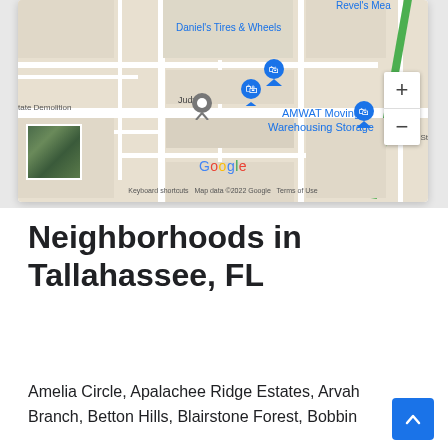[Figure (map): Google Maps screenshot showing streets around AMWAT Moving Warehousing Storage, Daniel's Tires & Wheels, and Revel's Mea in Tallahassee FL area. Shows Judy St, state Demolition labels, zoom controls, satellite thumbnail, and map attribution: Keyboard shortcuts, Map data ©2022 Google, Terms of Use]
Neighborhoods in Tallahassee, FL
Amelia Circle, Apalachee Ridge Estates, Arvah Branch, Betton Hills, Blairstone Forest, Bobbin